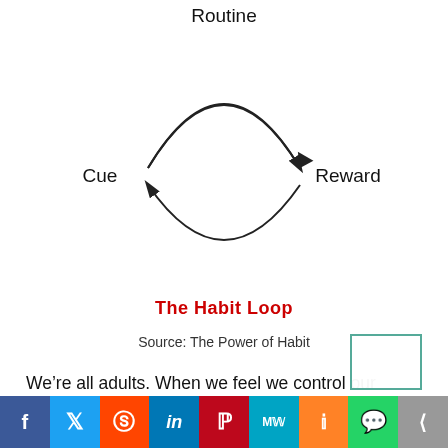[Figure (flowchart): The Habit Loop diagram: a circular flow with three nodes — Cue (left), Routine (top center), Reward (right) — connected by curved arrows forming a loop.]
The Habit Loop
Source: The Power of Habit
We're all adults. When we feel we control our decisions, we are more motivated to do something. So, after giving you all these tips, I'll make decision-making simpler for you.
Pick one of the possible responses in the list so
f  Twitter  Reddit  in  Pinterest  MW  Mix  WhatsApp  Share